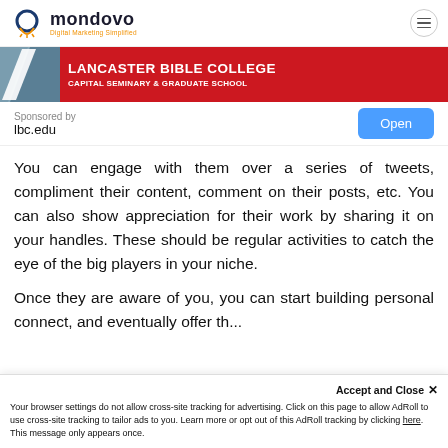mondovo | Digital Marketing Simplified
[Figure (illustration): Lancaster Bible College Capital Seminary & Graduate School advertisement banner with red background and white diagonal graphic element]
Sponsored by
lbc.edu
You can engage with them over a series of tweets, compliment their content, comment on their posts, etc. You can also show appreciation for their work by sharing it on your handles. These should be regular activities to catch the eye of the big players in your niche.
Once they are aware of you, you can start building personal connect, and eventually offer them...
Accept and Close ✕
Your browser settings do not allow cross-site tracking for advertising. Click on this page to allow AdRoll to use cross-site tracking to tailor ads to you. Learn more or opt out of this AdRoll tracking by clicking here. This message only appears once.